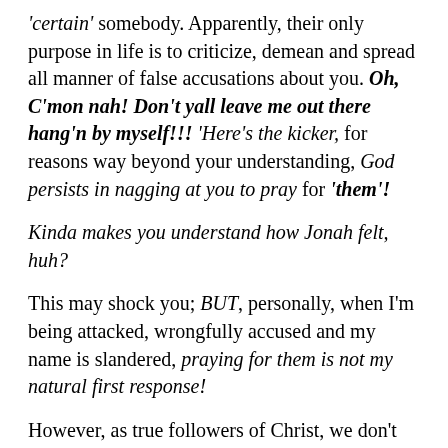'certain' somebody. Apparently, their only purpose in life is to criticize, demean and spread all manner of false accusations about you. Oh, C'mon nah! Don't yall leave me out there hang'n by myself!!! 'Here's the kicker, for reasons way beyond your understanding, God persists in nagging at you to pray for 'them'!
Kinda makes you understand how Jonah felt, huh?
This may shock you; BUT, personally, when I'm being attacked, wrongfully accused and my name is slandered, praying for them is not my natural first response!
However, as true followers of Christ, we don't war like the world does. "For though we walk in the flesh, we do not war after the flesh: For the weapons of our warfare